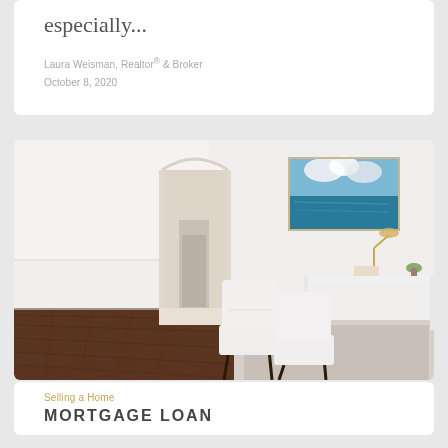especially...
Laura Weisman, Realtor® & Broker
October 8, 2020
[Figure (photo): Interior photo of a bright white room with dark hardwood floors, white upholstered chairs, a white desk, an arched doorway leading to a hallway, and a teal ocean painting on the wall with a gold lamp.]
Selling a Home
MORTGAGE LOAN